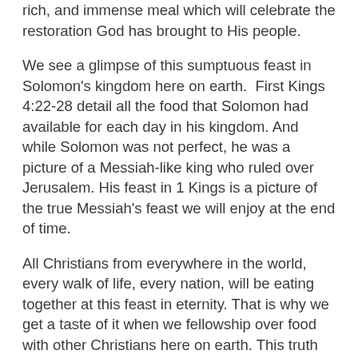rich, and immense meal which will celebrate the restoration God has brought to His people.
We see a glimpse of this sumptuous feast in Solomon's kingdom here on earth.  First Kings 4:22-28 detail all the food that Solomon had available for each day in his kingdom. And while Solomon was not perfect, he was a picture of a Messiah-like king who ruled over Jerusalem. His feast in 1 Kings is a picture of the true Messiah's feast we will enjoy at the end of time.
All Christians from everywhere in the world, every walk of life, every nation, will be eating together at this feast in eternity. That is why we get a taste of it when we fellowship over food with other Christians here on earth. This truth pushed Paul to rebuke Peter in Galatians 2:4-5. Peter was not eating with Gentiles, he was not enjoying that taste of heaven on earth that the Gospel so sweetly provides to Christians. And that was hypocritical, for the same gospel he